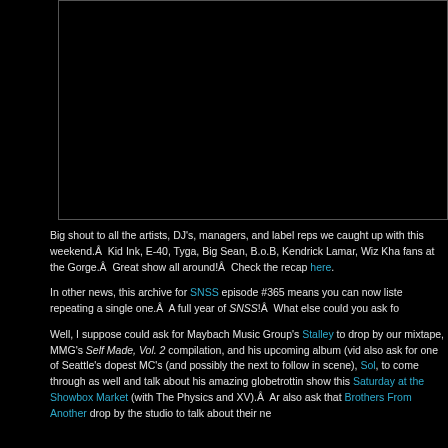[Figure (other): Black rectangle area representing an embedded video or image player, partially cropped at right edge]
Big shout to all the artists, DJ's, managers, and label reps we caught up with this weekend.Â  Kid Ink, E-40, Tyga, Big Sean, B.o.B, Kendrick Lamar, Wiz Kha... fans at the Gorge.Â  Great show all around!Â  Check the recap here.
In other news, this archive for SNSS episode #365 means you can now liste... repeating a single one.Â  A full year of SNSS!Â  What else could you ask fo...
Well, I suppose could ask for Maybach Music Group's Stalley to drop by our... mixtape, MMG's Self Made, Vol. 2 compilation, and his upcoming album (vid... also ask for one of Seattle's dopest MC's (and possibly the next to follow in... scene), Sol, to come through as well and talk about his amazing globetrottin... show this Saturday at the Showbox Market (with The Physics and XV).Â  Ar... also ask that Brothers From Another drop by the studio to talk about their ne...